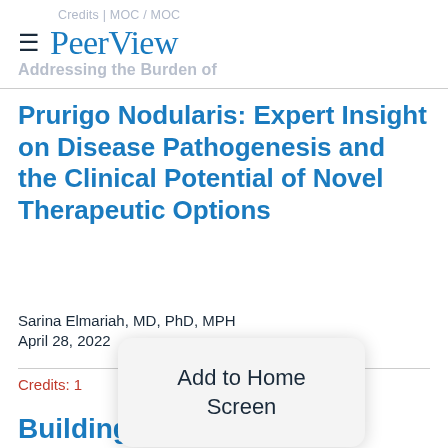Credits | MOC / PeerView / Addressing the Burden of
Prurigo Nodularis: Expert Insight on Disease Pathogenesis and the Clinical Potential of Novel Therapeutic Options
Sarina Elmariah, MD, PhD, MPH
April 28, 2022
Credits: 1
[Figure (screenshot): Mobile browser popup dialog with text 'Add to Home Screen']
Building Skills for Clinical